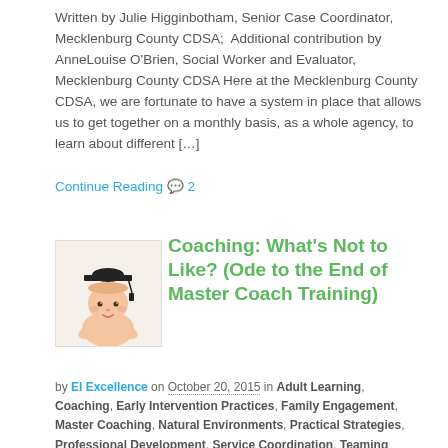Written by Julie Higginbotham, Senior Case Coordinator, Mecklenburg County CDSA;  Additional contribution by AnneLouise O'Brien, Social Worker and Evaluator, Mecklenburg County CDSA Here at the Mecklenburg County CDSA, we are fortunate to have a system in place that allows us to get together on a monthly basis, as a whole agency, to learn about different […]
Continue Reading  2
[Figure (photo): Baby wearing a graduation cap, resting chin on hands]
Coaching: What's Not to Like? (Ode to the End of Master Coach Training)
by EI Excellence on October 20, 2015 in Adult Learning, Coaching, Early Intervention Practices, Family Engagement, Master Coaching, Natural Environments, Practical Strategies, Professional Development, Service Coordination, Teaming